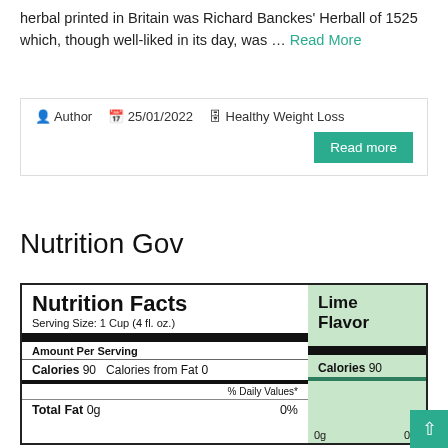herbal printed in Britain was Richard Banckes' Herball of 1525 which, though well-liked in its day, was … Read More
Author  25/01/2022  Healthy Weight Loss
Read more
Nutrition Gov
[Figure (infographic): Nutrition Facts label for Lime Flavor product. Serving Size: 1 Cup (4 fl. oz.). Amount Per Serving. Calories 90  Calories from Fat 0. % Daily Values*. Total Fat 0g  0%  0g  0%]